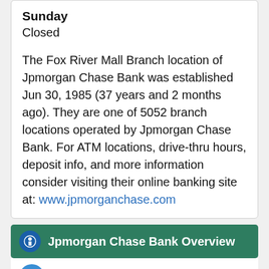Sunday
Closed
The Fox River Mall Branch location of Jpmorgan Chase Bank was established Jun 30, 1985 (37 years and 2 months ago). They are one of 5052 branch locations operated by Jpmorgan Chase Bank. For ATM locations, drive-thru hours, deposit info, and more information consider visiting their online banking site at: www.jpmorganchase.com
Jpmorgan Chase Bank Overview
USA Banks Profile:
Jpmorgan Chase Bank
Bank's Headquarters: